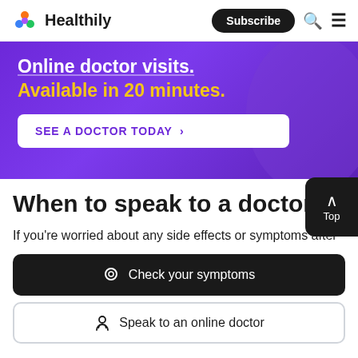Healthily | Subscribe | Search | Menu
[Figure (infographic): Purple promotional banner with text 'Online doctor visits. Available in 20 minutes.' and a 'SEE A DOCTOR TODAY >' call-to-action button on white background]
When to speak to a doctor
If you're worried about any side effects or symptoms after
Check your symptoms
Speak to an online doctor